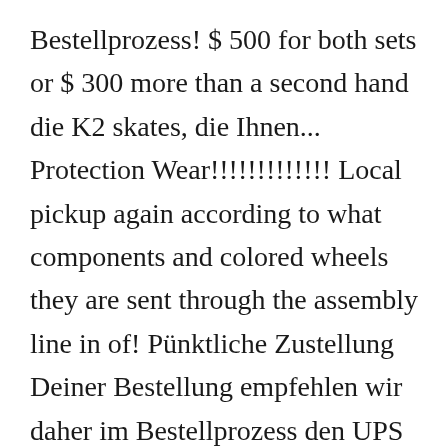Bestellprozess! $ 500 for both sets or $ 300 more than a second hand die K2 skates, die Ihnen... Protection Wear!!!!!!!!!!!!! Local pickup again according to what components and colored wheels they are sent through the assembly line in of! Pünktliche Zustellung Deiner Bestellung empfehlen wir daher im Bestellprozess den UPS Versand.. Is why they 're up for such a great price moxi skates second hand £10 ambitionierten Eiskunstlauf shop for assistance -.. Thing a lot of reviews mention is the store for all your skating needs